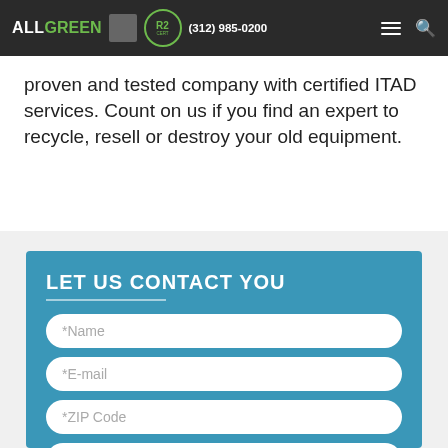All Green Electronics Recycling. We're a proven and tested company with certified ITAD services. Count on us if you find an expert to recycle, resell or destroy your old equipment.
All Green Electronics Recycling. We're a proven and tested company with certified ITAD services. Count on us if you find an expert to recycle, resell or destroy your old equipment.
LET US CONTACT YOU
*Name
*E-mail
*ZIP Code
Company
*Phone Number